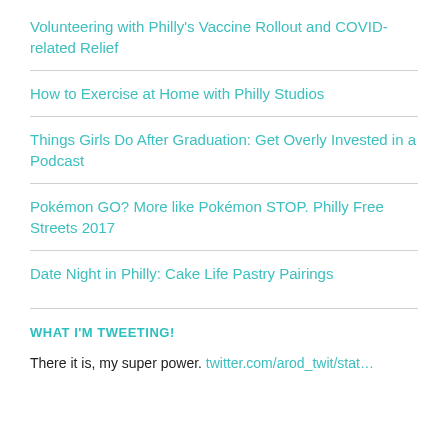Volunteering with Philly's Vaccine Rollout and COVID-related Relief
How to Exercise at Home with Philly Studios
Things Girls Do After Graduation: Get Overly Invested in a Podcast
Pokémon GO? More like Pokémon STOP. Philly Free Streets 2017
Date Night in Philly: Cake Life Pastry Pairings
WHAT I'M TWEETING!
There it is, my super power. twitter.com/arod_twit/stat…